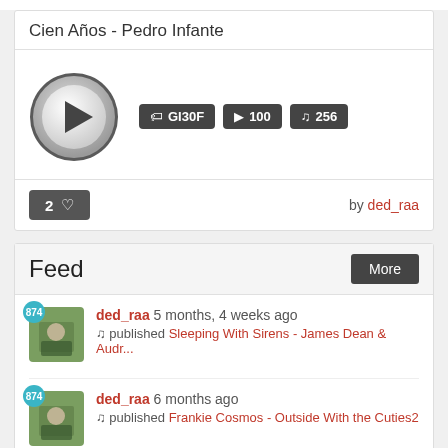Cien Años - Pedro Infante
[Figure (screenshot): Play button circle with badges GI30F, 100, 256]
2 ♥  by ded_raa
Feed
ded_raa 5 months, 4 weeks ago
♪ published Sleeping With Sirens - James Dean & Audr...
ded_raa 6 months ago
♪ published Frankie Cosmos - Outside With the Cuties2
ded_raa 6 months ago
♪ published The Pener Kitten - Woodland